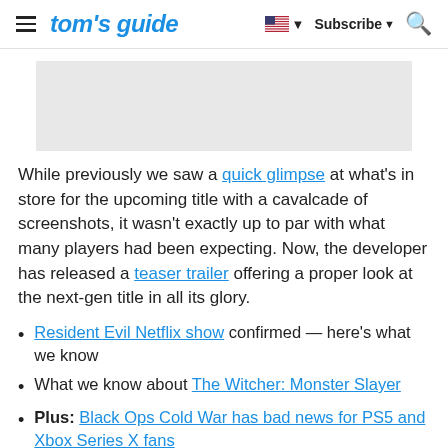tom's guide | Subscribe | Search
[Figure (other): Advertisement placeholder, light gray rectangle]
While previously we saw a quick glimpse at what's in store for the upcoming title with a cavalcade of screenshots, it wasn't exactly up to par with what many players had been expecting. Now, the developer has released a teaser trailer offering a proper look at the next-gen title in all its glory.
Resident Evil Netflix show confirmed — here's what we know
What we know about The Witcher: Monster Slayer
Plus: Black Ops Cold War has bad news for PS5 and Xbox Series X fans